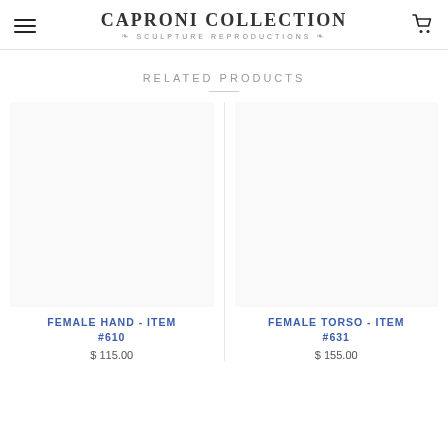Caproni Collection — Sculpture Reproductions
RELATED PRODUCTS
[Figure (photo): Empty product image placeholder for Female Hand - Item #610]
FEMALE HAND - ITEM #610
$ 115.00
[Figure (photo): Empty product image placeholder for Female Torso - Item #631]
FEMALE TORSO - ITEM #631
$ 155.00